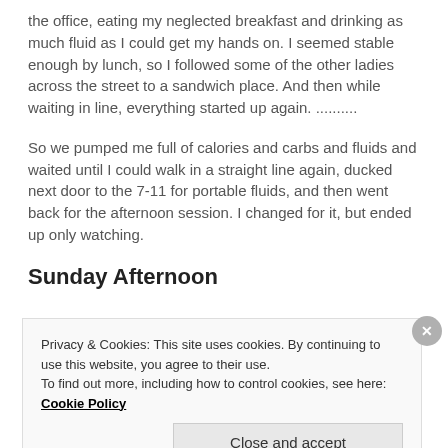the office, eating my neglected breakfast and drinking as much fluid as I could get my hands on. I seemed stable enough by lunch, so I followed some of the other ladies across the street to a sandwich place. And then while waiting in line, everything started up again. ..........
So we pumped me full of calories and carbs and fluids and waited until I could walk in a straight line again, ducked next door to the 7-11 for portable fluids, and then went back for the afternoon session. I changed for it, but ended up only watching.
Sunday Afternoon
Privacy & Cookies: This site uses cookies. By continuing to use this website, you agree to their use.
To find out more, including how to control cookies, see here: Cookie Policy
Close and accept